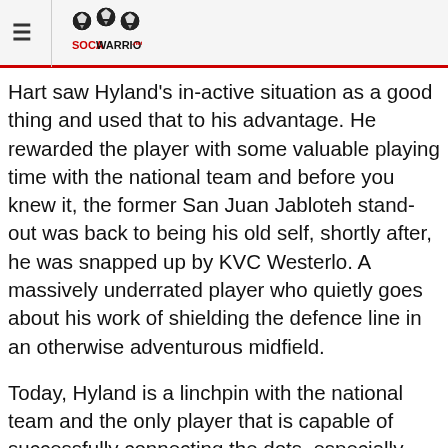≡ SOCAWARRIORS.net
Hart saw Hyland's in-active situation as a good thing and used that to his advantage. He rewarded the player with some valuable playing time with the national team and before you knew it, the former San Juan Jabloteh stand-out was back to being his old self, shortly after, he was snapped up by KVC Westerlo. A massively underrated player who quietly goes about his work of shielding the defence line in an otherwise adventurous midfield.
Today, Hyland is a linchpin with the national team and the only player that is capable of successfully connecting the dots, especially long-range efforts when up to it. On the opposite side of Hyland lies a totally different player in Andre Boucaud. The conventional centre midfielder is very calm and composed and uses the short pass technique to complete the dynamics